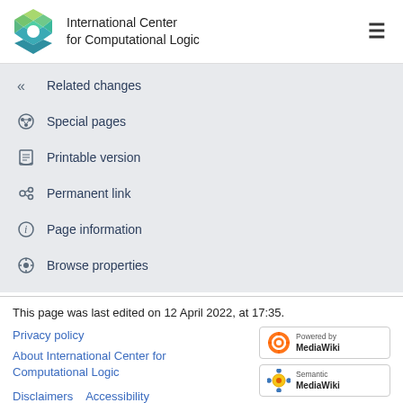International Center for Computational Logic
Related changes
Special pages
Printable version
Permanent link
Page information
Browse properties
This page was last edited on 12 April 2022, at 17:35.
Privacy policy
About International Center for Computational Logic
Disclaimers   Accessibility
[Figure (logo): Powered by MediaWiki badge]
[Figure (logo): Semantic MediaWiki badge]